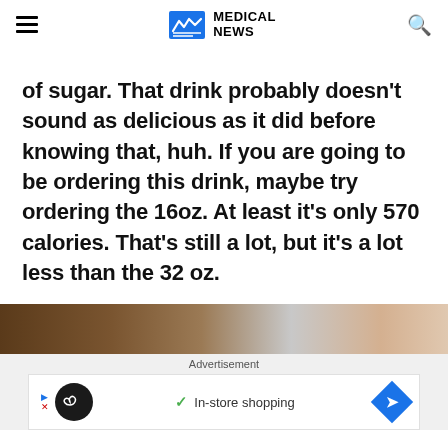MEDICAL NEWS
of sugar. That drink probably doesn't sound as delicious as it did before knowing that, huh. If you are going to be ordering this drink, maybe try ordering the 16oz. At least it's only 570 calories. That's still a lot, but it's a lot less than the 32 oz.
[Figure (photo): Partial image of food/drink related photo, cropped at bottom of article]
Advertisement
[Figure (infographic): Advertisement banner with infinity loop icon and In-store shopping text with navigation arrow]